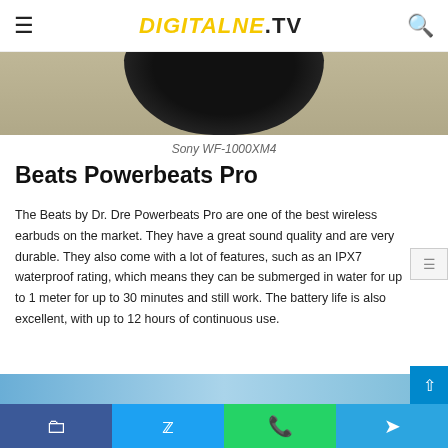DIGITALNE.TV
[Figure (photo): Black Sony WF-1000XM4 earbud case partially visible against sandy/beige background]
Sony WF-1000XM4
Beats Powerbeats Pro
The Beats by Dr. Dre Powerbeats Pro are one of the best wireless earbuds on the market. They have a great sound quality and are very durable. They also come with a lot of features, such as an IPX7 waterproof rating, which means they can be submerged in water for up to 1 meter for up to 30 minutes and still work. The battery life is also excellent, with up to 12 hours of continuous use.
[Figure (photo): Partial view of another product image at bottom of page]
Social share buttons: Facebook, Twitter, WhatsApp, Telegram